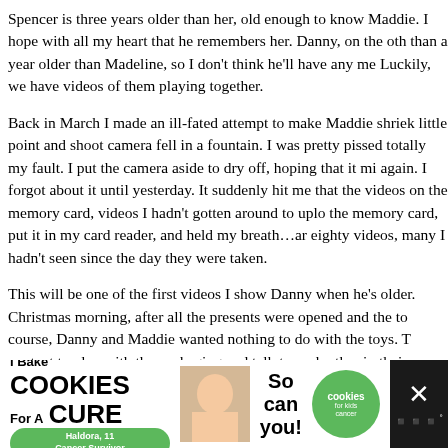Spencer is three years older than her, old enough to know Maddie. I hope with all my heart that he remembers her. Danny, on the other hand, is less than a year older than Madeline, so I don't think he'll have any memories of her. Luckily, we have videos of them playing together.
Back in March I made an ill-fated attempt to make Maddie shriek with laughter, and my little point and shoot camera fell in a fountain. I was pretty pissed at myself, though it was totally my fault. I put the camera aside to dry off, hoping that it might work once again. I forgot about it until yesterday. It suddenly hit me that there might be photos and videos on the memory card, videos I hadn't gotten around to upload yet. I carefully removed the memory card, put it in my card reader, and held my breath...and there were over eighty videos, many I hadn't seen since the day they were taken.
This will be one of the first videos I show Danny when he's older. It was taken on Christmas morning, after all the presents were opened and the toys were set up. Of course, Danny and Maddie wanted nothing to do with the toys. They were perfectly content to play with the packaging and talk to each other in their
[Figure (infographic): Advertisement banner: 'I Bake COOKIES For A CURE' with Haldora, 11 Cancer Survivor badge, photo of girl with cookies, 'So can you!' text, cookies for kids cancer logo, and close button with X icon]